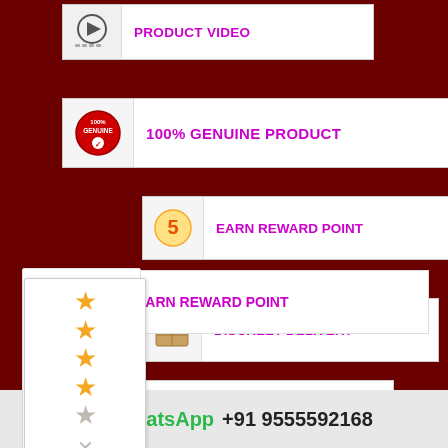[Figure (infographic): Product Video feature row with play icon and text PRODUCT VIDEO]
[Figure (infographic): 100% Genuine Product feature row with genuine badge icon]
[Figure (infographic): Earn Reward Point feature row with reward icon]
[Figure (infographic): Discreet Delivery feature row with box icon]
[Figure (infographic): No Hidden Cost feature row with magnifier icon]
[Figure (infographic): Star rating widget showing 3.5 out of 5 stars with close button]
100% Indian No. 1 Online Store
We deliver All Over India
WhatsApp  +91 9555592168